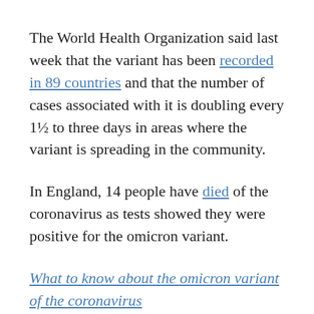The World Health Organization said last week that the variant has been recorded in 89 countries and that the number of cases associated with it is doubling every 1½ to three days in areas where the variant is spreading in the community.
In England, 14 people have died of the coronavirus as tests showed they were positive for the omicron variant.
What to know about the omicron variant of the coronavirus